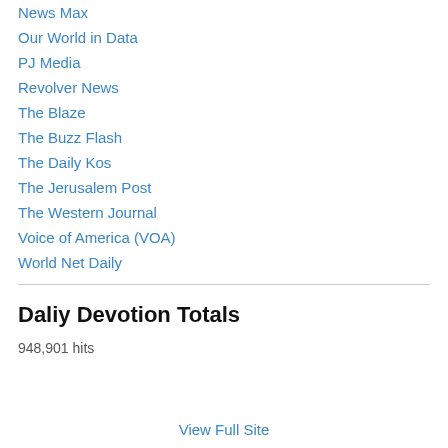News Max
Our World in Data
PJ Media
Revolver News
The Blaze
The Buzz Flash
The Daily Kos
The Jerusalem Post
The Western Journal
Voice of America (VOA)
World Net Daily
Daliy Devotion Totals
948,901 hits
View Full Site